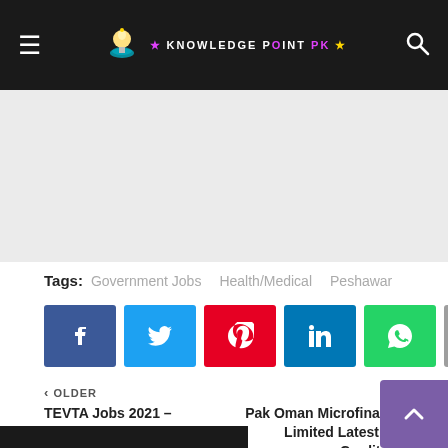≡  KNOWLEDGE POINT PK  🔍
[Figure (other): Advertisement/blank area]
Tags:  Government Jobs  Health/Medical  Peshawar
[Figure (infographic): Social share buttons: Facebook, Twitter, Pinterest, LinkedIn, WhatsApp, Email]
‹ OLDER
TEVTA Jobs 2021 – Government College of Technology GCT Lahore Latest Jobs
NEWER ›
Pak Oman Microfinance Bank Limited Latest Jobs For Credit Manager